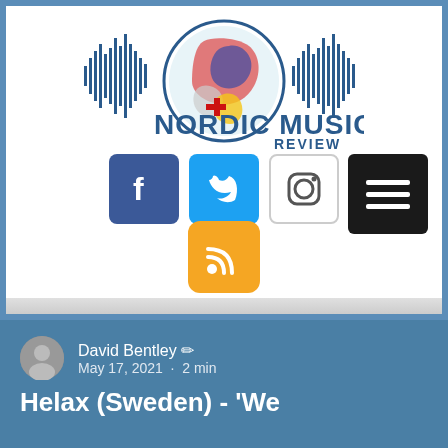[Figure (logo): Nordic Music Review logo with globe showing Nordic countries map, flanked by soundwave/bar graphics, text 'NORDIC MUSIC REVIEW']
[Figure (infographic): Social media icons: Facebook (blue square with f), Twitter (light blue square with bird), Instagram (white square with camera icon), hamburger menu (black square with three lines), RSS feed (orange square with RSS symbol)]
David Bentley ✏ May 17, 2021 · 2 min
Helax (Sweden) - 'We